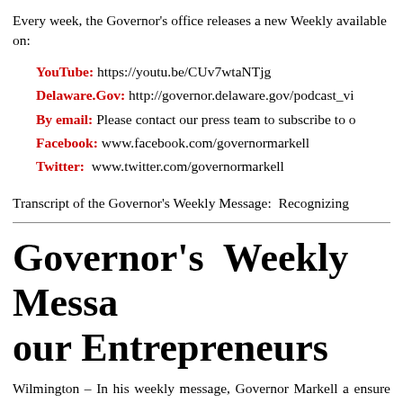Every week, the Governor's office releases a new Weekly available on:
YouTube: https://youtu.be/CUv7wtaNTjg
Delaware.Gov: http://governor.delaware.gov/podcast_vi
By email: Please contact our press team to subscribe to o
Facebook: www.facebook.com/governormarkell
Twitter: www.twitter.com/governormarkell
Transcript of the Governor's Weekly Message: Recognizing
Governor's Weekly Messa our Entrepreneurs
Wilmington – In his weekly message, Governor Markell a ensure entrepreneurs have the best opportunity to turn the